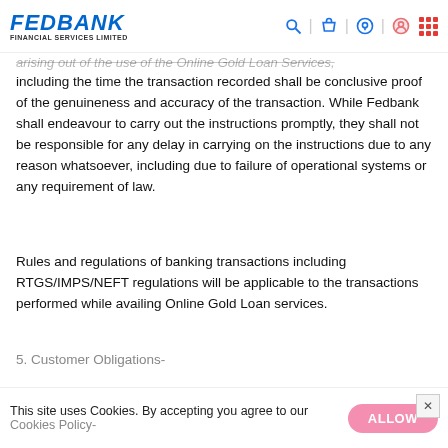FEDBANK FINANCIAL SERVICES LIMITED
arising out of the use of the Online Gold Loan Services, including the time the transaction recorded shall be conclusive proof of the genuineness and accuracy of the transaction. While Fedbank shall endeavour to carry out the instructions promptly, they shall not be responsible for any delay in carrying on the instructions due to any reason whatsoever, including due to failure of operational systems or any requirement of law.
Rules and regulations of banking transactions including RTGS/IMPS/NEFT regulations will be applicable to the transactions performed while availing Online Gold Loan services.
5. Customer Obligations-
This site uses Cookies. By accepting you agree to our Cookies Policy-
ALLOW